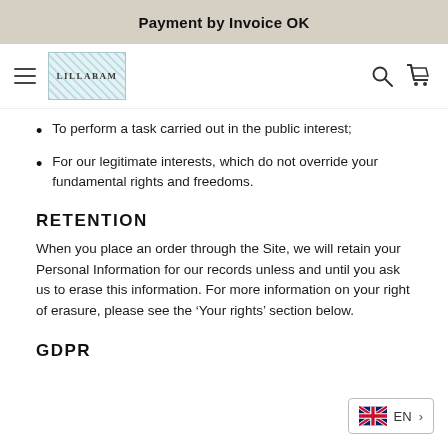Payment by Invoice OK
[Figure (logo): Lillabam shop logo with decorative border]
To perform a task carried out in the public interest;
For our legitimate interests, which do not override your fundamental rights and freedoms.
RETENTION
When you place an order through the Site, we will retain your Personal Information for our records unless and until you ask us to erase this information. For more information on your right of erasure, please see the ‘Your rights’ section below.
GDPR